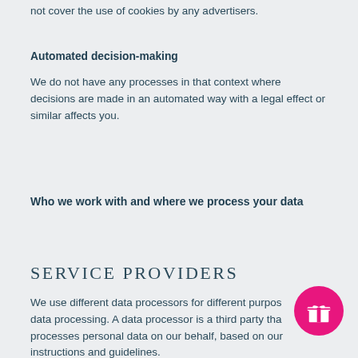not cover the use of cookies by any advertisers.
Automated decision-making
We do not have any processes in that context where decisions are made in an automated way with a legal effect or similar affects you.
Who we work with and where we process your data
SERVICE PROVIDERS
We use different data processors for different purposes for data processing. A data processor is a third party that processes personal data on our behalf, based on our instructions and guidelines.